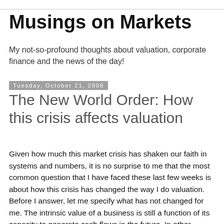Musings on Markets
My not-so-profound thoughts about valuation, corporate finance and the news of the day!
Tuesday, October 21, 2008
The New World Order: How this crisis affects valuation
Given how much this market crisis has shaken our faith in systems and numbers, it is no surprise to me that the most common question that I have faced these last few weeks is about how this crisis has changed the way I do valuation. Before I answer, let me specify what has not changed for me. The intrinsic value of a business is still a function of its capacity to generate cash flows in the future. In other words, I am not going to create new paradigms for valuation just because we are in turmoil. In terms of estimates, though, here is what I believe has changed in these last 6 weeks: